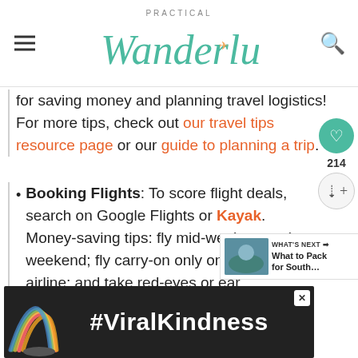Practical Wanderlust
for saving money and planning travel logistics! For more tips, check out our travel tips resource page or our guide to planning a trip.
Booking Flights: To score flight deals, search on Google Flights or Kayak. Money-saving tips: fly mid-week or on the weekend; fly carry-on only on a budget airline; and take red-eyes or early morning flights.
[Figure (other): #ViralKindness advertisement banner with rainbow illustration on dark background]